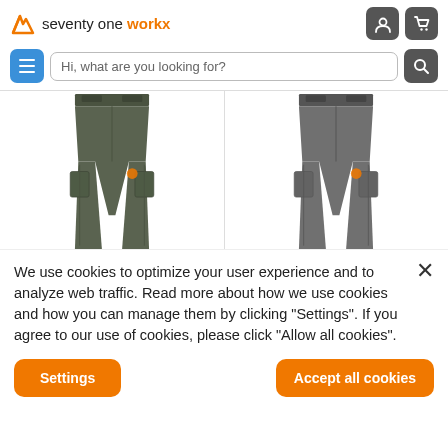[Figure (logo): Seventy One Workx logo with orange W checkmark and text 'seventy one workx']
[Figure (screenshot): Website header with navigation icons (user account and shopping cart)]
[Figure (screenshot): Search bar with hamburger menu button and search icon, placeholder text 'Hi, what are you looking for?']
[Figure (photo): Two cargo work pants displayed side by side - left pair in olive/dark green color, right pair in grey color, both showing front view with cargo pockets and orange brand detail]
We use cookies to optimize your user experience and to analyze web traffic. Read more about how we use cookies and how you can manage them by clicking "Settings". If you agree to our use of cookies, please click "Allow all cookies".
Settings
Accept all cookies